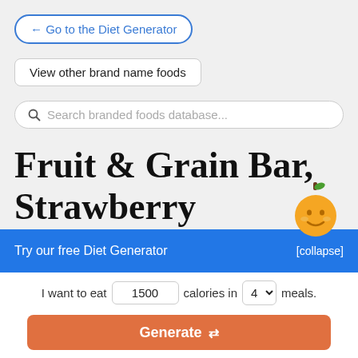← Go to the Diet Generator
View other brand name foods
Search branded foods database...
Fruit & Grain Bar, Strawberry
Try our free Diet Generator [collapse]
I want to eat 1500 calories in 4 meals.
Generate